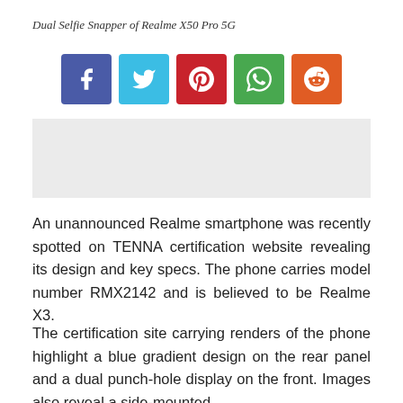Dual Selfie Snapper of Realme X50 Pro 5G
[Figure (other): Social share buttons: Facebook (blue), Twitter (light blue), Pinterest (red), WhatsApp (green), Reddit (orange)]
[Figure (other): Advertisement placeholder box (light gray)]
An unannounced Realme smartphone was recently spotted on TENNA certification website revealing its design and key specs. The phone carries model number RMX2142 and is believed to be Realme X3.
The certification site carrying renders of the phone highlight a blue gradient design on the rear panel and a dual punch-hole display on the front. Images also reveal a side-mounted